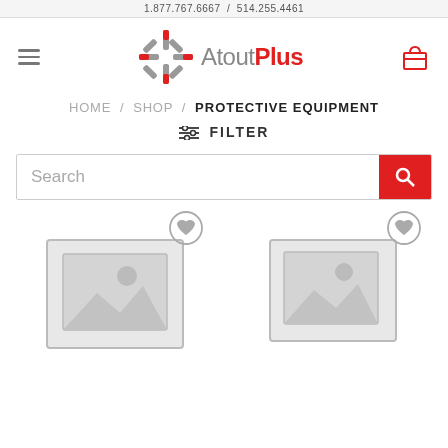1.877.767.6667 / 514.255.4461
[Figure (logo): AtoutPlus logo with a red and grey star/cross icon and text 'Atout' in grey and 'Plus' in red]
HOME / SHOP / PROTECTIVE EQUIPMENT
≡ FILTER
Search
[Figure (other): Two product placeholder images with wishlist heart icons above them]
[Figure (other): Shopping bag icon (top right navigation)]